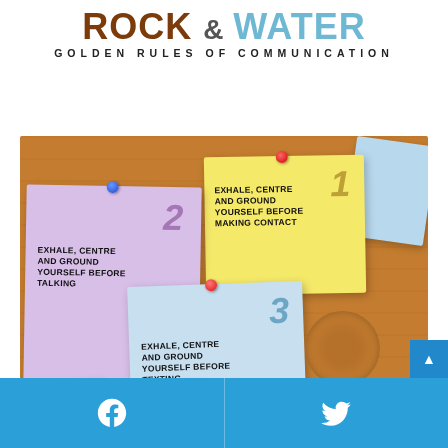ROCK & WATER GOLDEN RULES OF COMMUNICATION
[Figure (infographic): Wooden corkboard with four numbered sticky notes. Note 1 (yellow): 'EXHALE, CENTRE AND GROUND YOURSELF BEFORE MAKING CONTACT'. Note 2 (lavender): 'EXHALE, CENTRE AND GROUND YOURSELF BEFORE TALKING'. Note 3 (light blue): 'EXHALE, CENTRE AND GROUND YOURSELF BEFORE TEXTING'. Note 4 (light yellow-green): 'EXHALE, CENTRE'. Each note has a colored push pin. There is also a wood knot circle visible on the board.]
Facebook share | Twitter share buttons